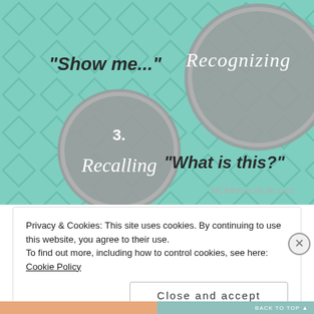[Figure (illustration): Educational infographic on a mint green diamond-pattern background showing two gray circles. Top-right circle contains italic text 'Recognizing'. Bottom-left circle contains '3. Recalling'. Handwritten-style text reads '"Show me..."' on the left and '"What is this?"' on the lower right. Watermark 'MOMtessoriLife.com' in bottom right.]
Privacy & Cookies: This site uses cookies. By continuing to use this website, you agree to their use.
To find out more, including how to control cookies, see here: Cookie Policy
Close and accept